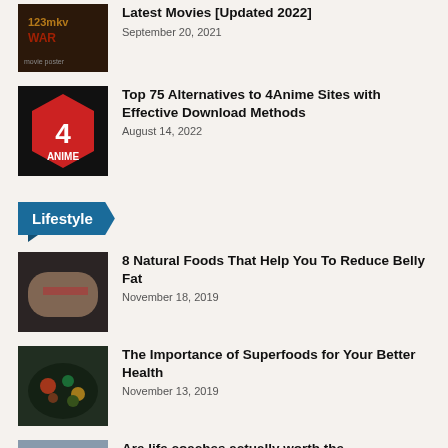[Figure (screenshot): 123mkv movie thumbnail showing a dark war movie poster]
Latest Movies [Updated 2022]
September 20, 2021
[Figure (screenshot): 4Anime logo - red hexagonal badge with number 4 and ANIME text on black background]
Top 75 Alternatives to 4Anime Sites with Effective Download Methods
August 14, 2022
Lifestyle
[Figure (photo): Person measuring belly fat with a tape measure]
8 Natural Foods That Help You To Reduce Belly Fat
November 18, 2019
[Figure (photo): Colorful superfoods bowl with vegetables, nuts and berries]
The Importance of Superfoods for Your Better Health
November 13, 2019
[Figure (photo): Life coaches article thumbnail]
Are life coaches actually worth the